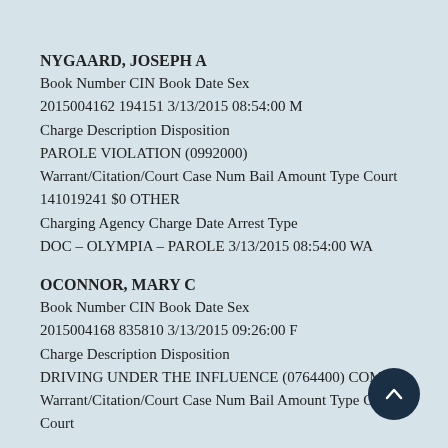NYGAARD, JOSEPH A
Book Number CIN Book Date Sex
2015004162 194151 3/13/2015 08:54:00 M
Charge Description Disposition
PAROLE VIOLATION (0992000)
Warrant/Citation/Court Case Num Bail Amount Type Court
141019241 $0 OTHER
Charging Agency Charge Date Arrest Type
DOC – OLYMPIA – PAROLE 3/13/2015 08:54:00 WA
OCONNOR, MARY C
Book Number CIN Book Date Sex
2015004168 835810 3/13/2015 09:26:00 F
Charge Description Disposition
DRIVING UNDER THE INFLUENCE (0764400) COM
Warrant/Citation/Court Case Num Bail Amount Type Court
Court